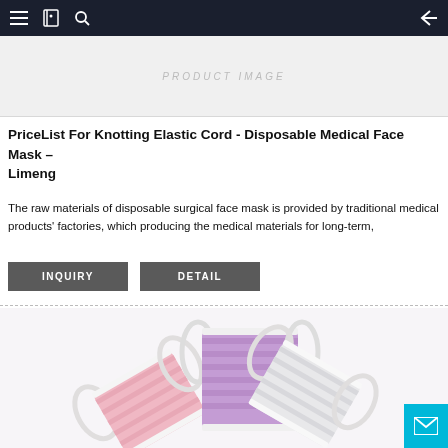Navigation bar with menu, bookmark, search icons and back arrow
[Figure (photo): Partial product image at top, mostly white/light background with faint text overlay]
PriceList For Knotting Elastic Cord - Disposable Medical Face Mask – Limeng
The raw materials of disposable surgical face mask is provided by traditional medical products' factories, which producing the medical materials for long-term,
INQUIRY   DETAIL
[Figure (photo): Three disposable medical face masks fanned out: pink on left, purple/violet in center (taller), white/grey on right, each with white ear loops, on light background]